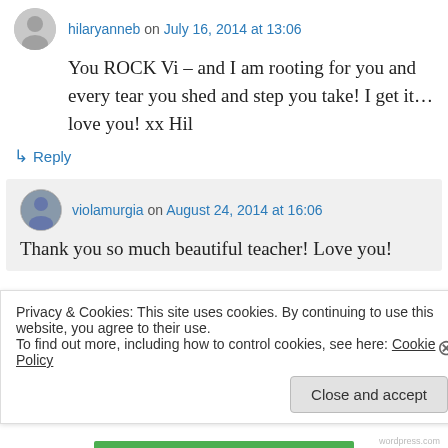hilaryanneb on July 16, 2014 at 13:06
You ROCK Vi – and I am rooting for you and every tear you shed and step you take! I get it… love you! xx Hil
↳ Reply
violamurgia on August 24, 2014 at 16:06
Thank you so much beautiful teacher! Love you!
Privacy & Cookies: This site uses cookies. By continuing to use this website, you agree to their use.
To find out more, including how to control cookies, see here: Cookie Policy
Close and accept